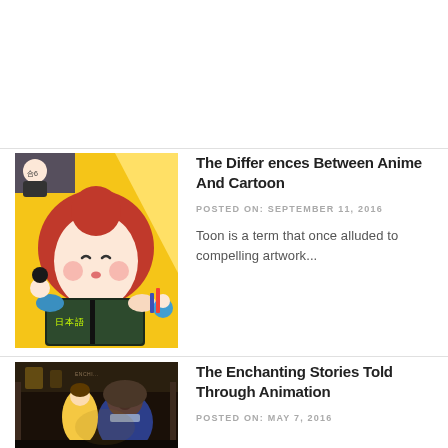[Figure (illustration): Anime-style illustration of a red-haired girl reading a Japanese book, with cartoon characters in yellow/colorful background]
The Differences Between Anime And Cartoon
POSTED ON: SEPTEMBER 11, 2016
Toon is a term that once alluded to compelling artwork...
[Figure (illustration): Animation scene with Beauty and the Beast characters in a dark castle setting]
The Enchanting Stories Told Through Animation
POSTED ON: MAY 7, 2016